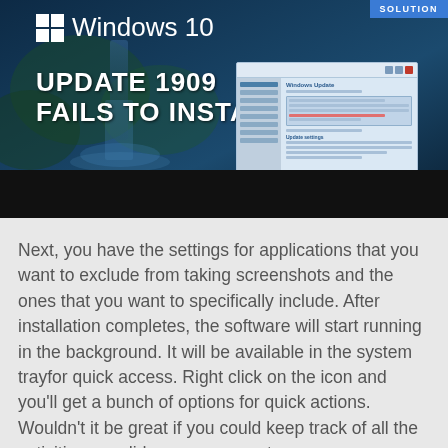[Figure (screenshot): Windows 10 Update 1909 Fails to Install thumbnail image with Windows logo, bold headline text, and a screenshot of Windows Update settings panel. A 'SOLUTION' badge appears top right. A black bar is at the bottom.]
Next, you have the settings for applications that you want to exclude from taking screenshots and the ones that you want to specifically include. After installation completes, the software will start running in the background. It will be available in the system trayfor quick access. Right click on the icon and you’ll get a bunch of options for quick actions. Wouldn’t it be great if you could keep track of all the activities you did on your computer.